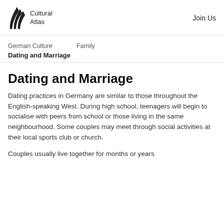Cultural Atlas   Join Us
German Culture   Family
Dating and Marriage
Dating and Marriage
Dating practices in Germany are similar to those throughout the English-speaking West. During high school, teenagers will begin to socialise with peers from school or those living in the same neighbourhood. Some couples may meet through social activities at their local sports club or church.
Couples usually live together for months or years